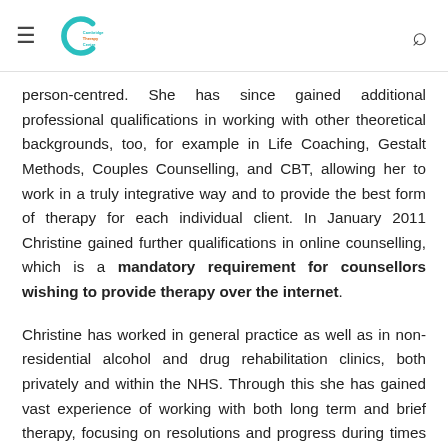Cambridge Therapy Centre [logo] [search icon]
person-centred. She has since gained additional professional qualifications in working with other theoretical backgrounds, too, for example in Life Coaching, Gestalt Methods, Couples Counselling, and CBT, allowing her to work in a truly integrative way and to provide the best form of therapy for each individual client. In January 2011 Christine gained further qualifications in online counselling, which is a mandatory requirement for counsellors wishing to provide therapy over the internet.
Christine has worked in general practice as well as in non-residential alcohol and drug rehabilitation clinics, both privately and within the NHS. Through this she has gained vast experience of working with both long term and brief therapy, focusing on resolutions and progress during times where clients may feel particularly stuck.